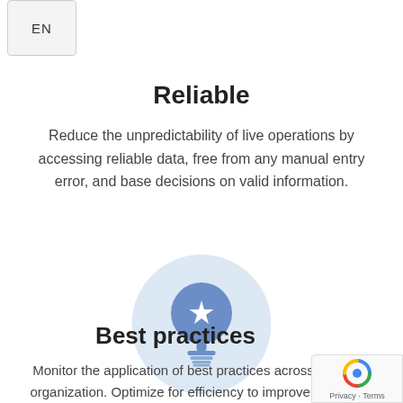[Figure (screenshot): EN language selector button in top-left corner]
Reliable
Reduce the unpredictability of live operations by accessing reliable data, free from any manual entry error, and base decisions on valid information.
[Figure (illustration): Trophy/award icon in a light blue circle, representing best practices]
Best practices
Monitor the application of best practices across the w… organization. Optimize for efficiency to improve outcome and